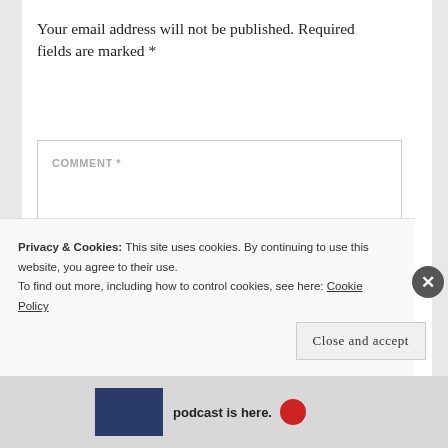Your email address will not be published. Required fields are marked *
COMMENT *
Privacy & Cookies: This site uses cookies. By continuing to use this website, you agree to their use.
To find out more, including how to control cookies, see here: Cookie Policy
Close and accept
podcast is here.